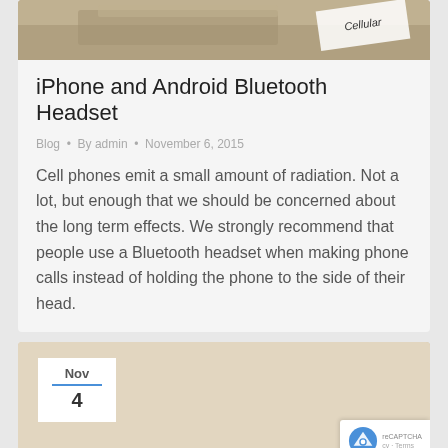[Figure (photo): Partial photo showing a wooden object with a small card labeled 'Cellular' in the background]
iPhone and Android Bluetooth Headset
Blog • By admin • November 6, 2015
Cell phones emit a small amount of radiation. Not a lot, but enough that we should be concerned about the long term effects. We strongly recommend that people use a Bluetooth headset when making phone calls instead of holding the phone to the side of their head.
[Figure (photo): Partial photo with a date badge showing Nov 4 in the bottom portion of the page]